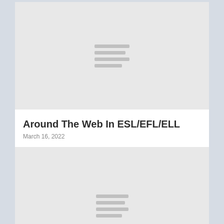[Figure (illustration): Gray placeholder image with horizontal lines in center, representing an article thumbnail]
Around The Web In ESL/EFL/ELL
March 16, 2022
[Figure (illustration): Gray placeholder image with horizontal lines in center, representing a second article thumbnail, partially visible]